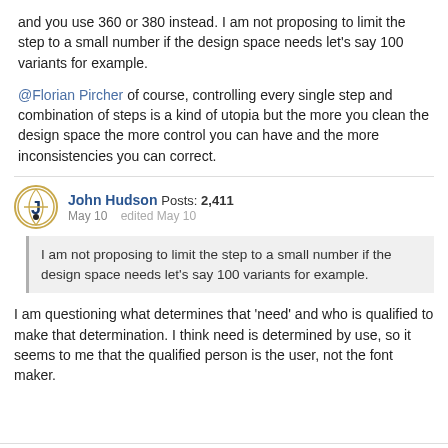and you use 360 or 380 instead. I am not proposing to limit the step to a small number if the design space needs let's say 100 variants for example.
@Florian Pircher of course, controlling every single step and combination of steps is a kind of utopia but the more you clean the design space the more control you can have and the more inconsistencies you can correct.
John Hudson Posts: 2,411
May 10   edited May 10
I am not proposing to limit the step to a small number if the design space needs let's say 100 variants for example.
I am questioning what determines that ‘need’ and who is qualified to make that determination. I think need is determined by use, so it seems to me that the qualified person is the user, not the font maker.